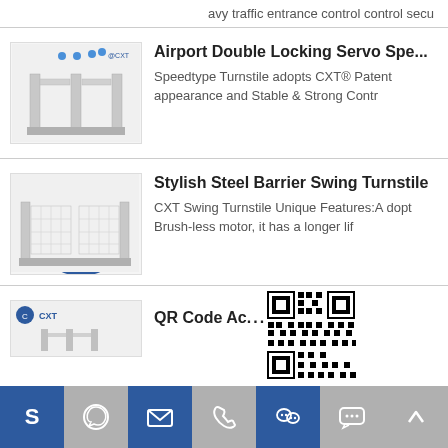avy traffic entrance control control secu
[Figure (photo): Airport double locking servo speed gate turnstile product image]
Airport Double Locking Servo Spe...
Speedtype Turnstile adopts CXT® Patent appearance and Stable & Strong Contr
[Figure (photo): Stylish steel barrier swing turnstile product image with CXT logo]
Stylish Steel Barrier Swing Turnstile
CXT Swing Turnstile Unique Features:Adopt Brush-less motor, it has a longer lif
[Figure (photo): QR Code product image partially visible]
QR Code Ac...d Gate CX...